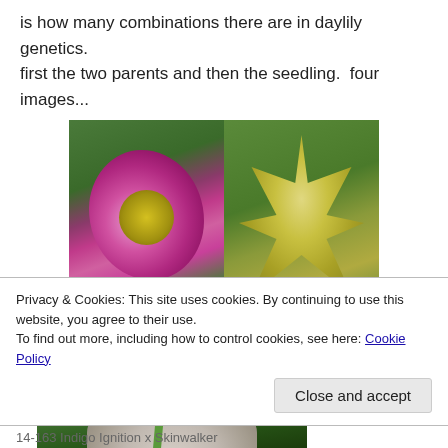is how many combinations there are in daylily genetics.
first the two parents and then the seedling.  four images...
[Figure (photo): Two parent daylily flowers side by side: left shows a large purple/magenta bloom with yellow center against green foliage; right shows a yellow-green spider-type daylily with long narrow petals against a chain-link fence background.]
[Figure (photo): A seedling daylily plant shown from above against dark green foliage background, with a pale/white partially open bloom visible at the bottom of the frame.]
Privacy & Cookies: This site uses cookies. By continuing to use this website, you agree to their use.
To find out more, including how to control cookies, see here: Cookie Policy
Close and accept
14-163 Indigo Ignition x Skinwalker